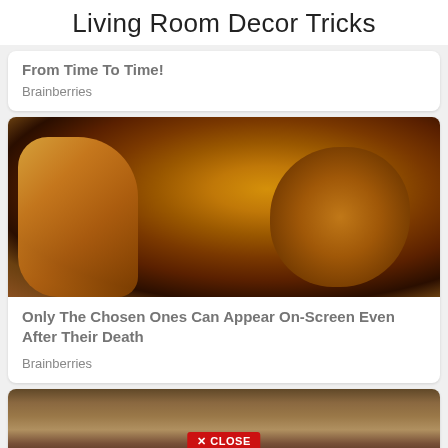Living Room Decor Tricks
From Time To Time!
Brainberries
[Figure (photo): Bruce Lee in a martial arts pose, hand extended toward camera, warm golden/brown tones]
Only The Chosen Ones Can Appear On-Screen Even After Their Death
Brainberries
[Figure (photo): Partial photo of a woman, with a red CLOSE button overlay at bottom center]